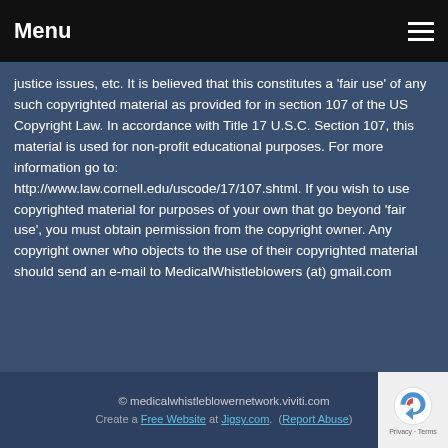Menu
justice issues, etc. It is believed that this constitutes a 'fair use' of any such copyrighted material as provided for in section 107 of the US Copyright Law. In accordance with Title 17 U.S.C. Section 107, this material is used for non-profit educational purposes. For more information go to: http://www.law.cornell.edu/uscode/17/107.shtml. If you wish to use copyrighted material for purposes of your own that go beyond 'fair use', you must obtain permission from the copyright owner. Any copyright owner who objects to the use of their copyrighted material should send an e-mail to MedicalWhistleblowers (at) gmail.com
© medicalwhistleblowernetwork.viviti.com
Create a Free Website at Jigsy.com. (Report Abuse)